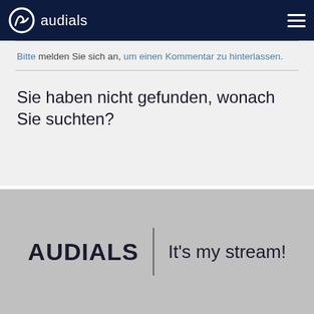audials
Bitte melden Sie sich an, um einen Kommentar zu hinterlassen.
Sie haben nicht gefunden, wonach Sie suchten?
AUDIALS | It's my stream!